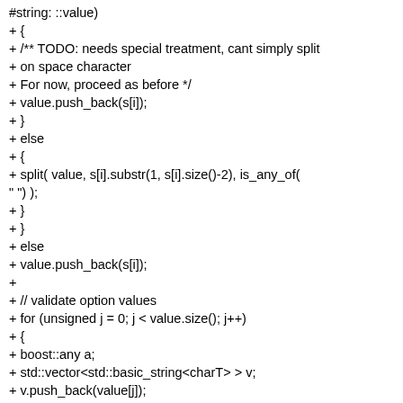#string: ::value)
+ {
+ /** TODO: needs special treatment, cant simply split
+ on space character
+ For now, proceed as before */
+ value.push_back(s[i]);
+ }
+ else
+ {
+ split( value, s[i].substr(1, s[i].size()-2), is_any_of(
" ") );
+ }
+ }
+ else
+ value.push_back(s[i]);
+
+ // validate option values
+ for (unsigned j = 0; j < value.size(); j++)
+ {
+ boost::any a;
+ std::vector<std::basic_string<charT> > v;
+ v.push_back(value[j]);
+ validate(a, v, (T*)0, 0);
+ tv.>push_back(boost::any_cast<T>(a));